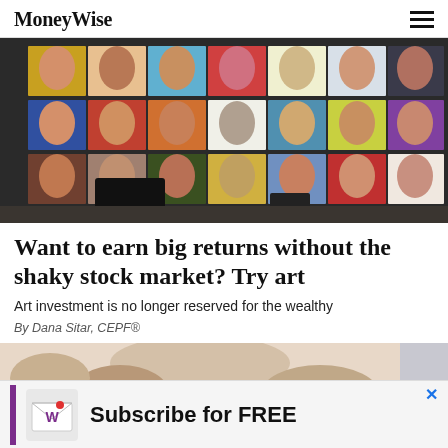MoneyWise
[Figure (photo): Gallery wall of Andy Warhol-style colorful celebrity portrait paintings with museum visitors silhouetted in front]
Want to earn big returns without the shaky stock market? Try art
Art investment is no longer reserved for the wealthy
By Dana Sitar, CEPF®
[Figure (photo): Partial view of second article image showing people, cropped at bottom]
[Figure (infographic): Advertisement banner: MoneyWise W logo envelope icon with text 'Subscribe for FREE']